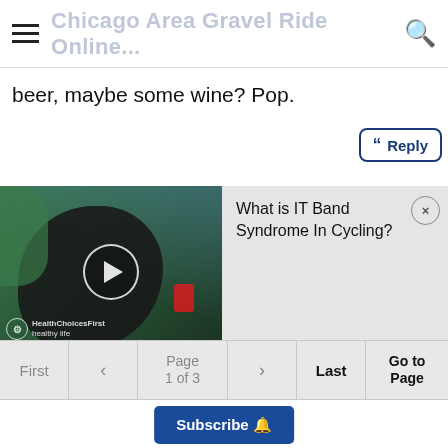Chicago Area Gravel Ride Online...
beer, maybe some wine? Pop.
[Figure (screenshot): Reply button with quotation mark icon and blue border]
[Figure (photo): Video thumbnail showing a cyclist's knee/leg with a play button overlay and HealthChoicesFirst watermark, alongside a popup card titled 'What is IT Band Syndrome In Cycling?' with a close button]
First  <  Page 1 of 3  >  Last  Go to Page